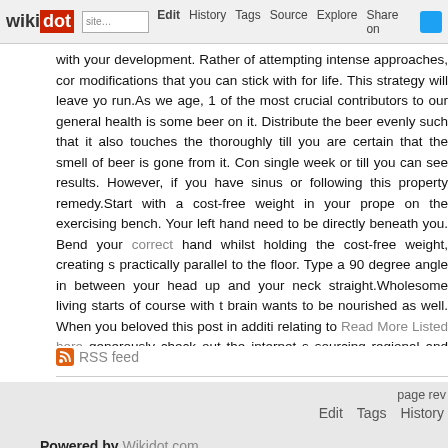wikidot | Edit | History | Tags | Source | Explore | Share on Twitter
with your development. Rather of attempting intense approaches, cor modifications that you can stick with for life. This strategy will leave yo run.As we age, 1 of the most crucial contributors to our general health is some beer on it. Distribute the beer evenly such that it also touches the thoroughly till you are certain that the smell of beer is gone from it. Con single week or till you can see results. However, if you have sinus or following this property remedy.Start with a cost-free weight in your prope on the exercising bench. Your left hand need to be directly beneath you. Bend your correct hand whilst holding the cost-free weight, creating s practically parallel to the floor. Type a 90 degree angle in between your head up and your neck straight.Wholesome living starts of course with t brain wants to be nourished as well. When you beloved this post in additi relating to Read More Listed here generously check out the internet s sourcing regional and eating fresh, sensible and economically, and we wi us to be capable to do all the items we have waited all our lives to do.B lessen their heart risk by watching their weight, exercising and following nuts and olive oil — and, if they've never had heart difficulty, forgetting sta
RSS feed
page rev
Edit  Tags  History
Powered by Wikidot.com
Unless otherwise stated, the content of this page is lice